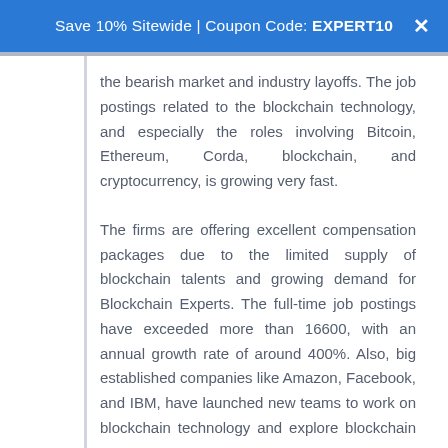Save 10% Sitewide | Coupon Code: EXPERT10
the bearish market and industry layoffs. The job postings related to the blockchain technology, and especially the roles involving Bitcoin, Ethereum, Corda, blockchain, and cryptocurrency, is growing very fast.
The firms are offering excellent compensation packages due to the limited supply of blockchain talents and growing demand for Blockchain Experts. The full-time job postings have exceeded more than 16600, with an annual growth rate of around 400%. Also, big established companies like Amazon, Facebook, and IBM, have launched new teams to work on blockchain technology and explore blockchain use cases.